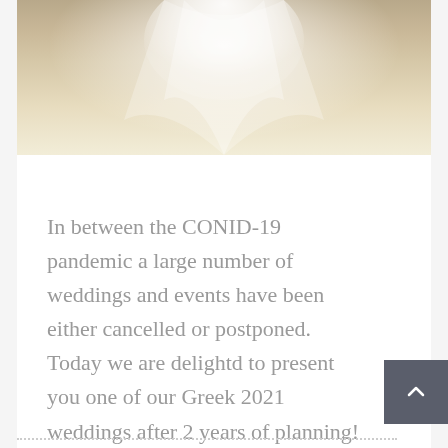[Figure (photo): Wedding photo showing a bride in a white dress with a flowing veil, set against a dry grassy outdoor background]
In between the CONID-19 pandemic a large number of weddings and events have been either cancelled or postponed. Today we are delightd to present you one of our Greek 2021 weddings after 2 years of planning! The Greek destination wedding of Denise and Alban has been...